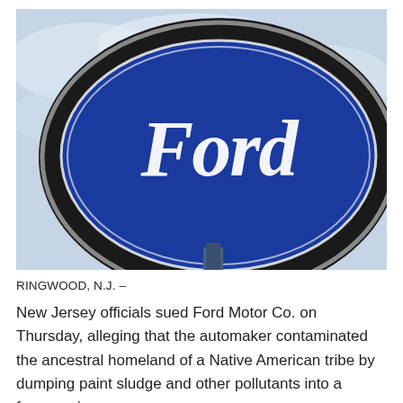[Figure (photo): Close-up photograph of a Ford dealership sign — a large blue oval Ford logo on a dark circular backing mounted on a pole, photographed against a cloudy sky background.]
RINGWOOD, N.J. –
New Jersey officials sued Ford Motor Co. on Thursday, alleging that the automaker contaminated the ancestral homeland of a Native American tribe by dumping paint sludge and other pollutants into a former mine.